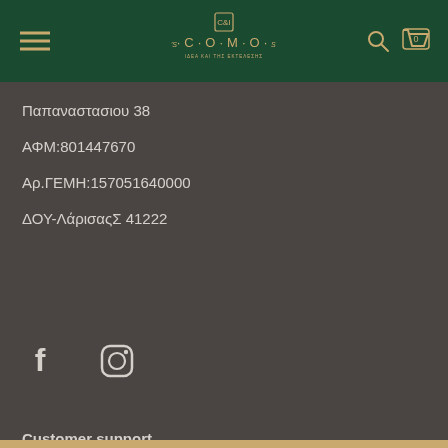COMO logo header with navigation
Παπαναστασιου 38
ΑΦΜ:801447670
Αρ.ΓΕΜΗ:157051640000
ΔΟΥ-ΛάρισαςΣ 41222
[Figure (infographic): Social media icons: Facebook and Instagram]
Customer support
Contact us